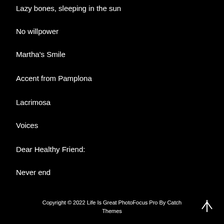Lazy bones, sleeping in the sun
No willpower
Martha's Smile
Accent from Pamplona
Lacrimosa
Voices
Dear Healthy Friend:
Never end
Copyright © 2022 Life Is Great PhotoFocus Pro By Catch Themes